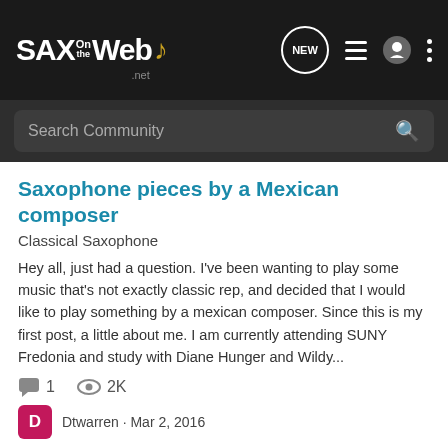[Figure (screenshot): SAX on the Web website header with logo and navigation icons]
Search Community
Saxophone pieces by a Mexican composer
Classical Saxophone
Hey all, just had a question. I've been wanting to play some music that's not exactly classic rep, and decided that I would like to play something by a mexican composer. Since this is my first post, a little about me. I am currently attending SUNY Fredonia and study with Diane Hunger and Wildy...
1  2K
Dtwarren · Mar 2, 2016
classical  composer  mexican
First altissimo pieces
Classical Saxophone